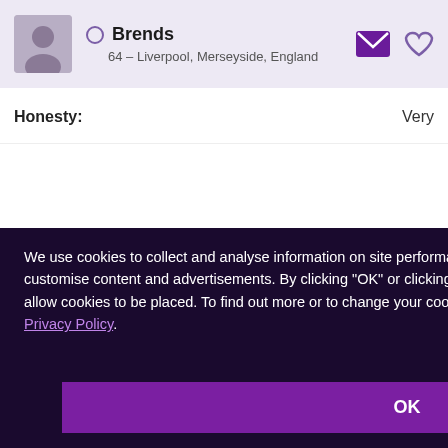[Figure (screenshot): User profile card showing avatar placeholder, online status circle, name 'Brends', location '64 – Liverpool, Merseyside, England', message icon, and heart icon on a light purple background]
Honesty: Very
Success Stories
Safety
We use cookies to collect and analyse information on site performance and usage, and to enhance and customise content and advertisements. By clicking "OK" or clicking into any content on this site you agree to allow cookies to be placed. To find out more or to change your cookie settings, visit the cookies section of our Privacy Policy.
OK